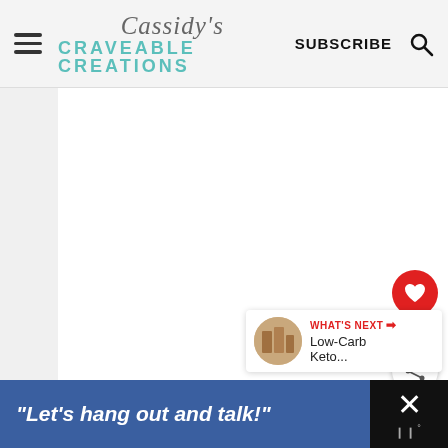Cassidy's Craveable Creations — SUBSCRIBE
[Figure (other): Blank white content area, main body of webpage]
[Figure (other): Red circular heart/like button with count 99 and share button]
99
[Figure (other): What's Next panel showing thumbnail and text: Low-Carb Keto...]
WHAT'S NEXT → Low-Carb Keto...
[Figure (other): Dark bottom banner with blue area: "Let's hang out and talk!" and close X button]